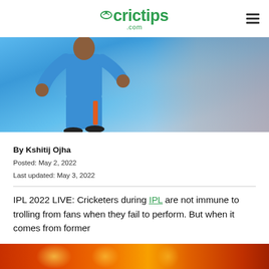crictips .com
[Figure (photo): Cricket player in blue Indian team uniform running/bowling, blurred background with spectators]
By Kshitij Ojha
Posted: May 2, 2022
Last updated: May 3, 2022
IPL 2022 LIVE: Cricketers during IPL are not immune to trolling from fans when they fail to perform. But when it comes from former
[Figure (photo): Colorful fireworks/pyrotechnics at bottom of page]